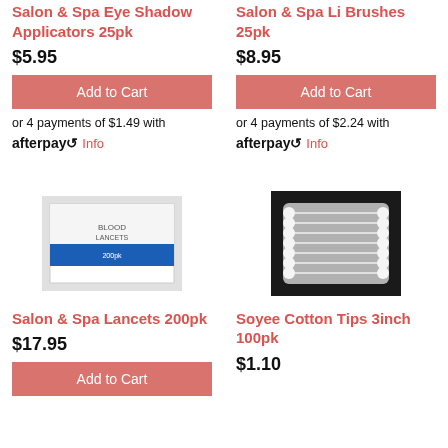Salon & Spa Eye Shadow Applicators 25pk
$5.95
Add to Cart
or 4 payments of $1.49 with afterpay Info
Salon & Spa Li Brushes 25pk
$8.95
Add to Cart
or 4 payments of $2.24 with afterpay Info
[Figure (photo): Box of Salon & Spa Lancets 200pk on white background]
[Figure (photo): Cotton tips bundle on dark background]
Salon & Spa Lancets 200pk
$17.95
Soyee Cotton Tips 3inch 100pk
$1.10